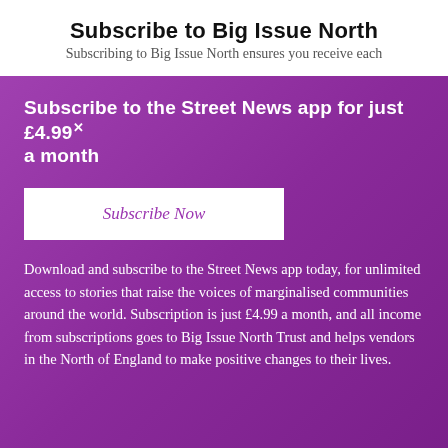Subscribe to Big Issue North
Subscribing to Big Issue North ensures you receive each
Subscribe to the Street News app for just £4.99 a month
Subscribe Now
Download and subscribe to the Street News app today, for unlimited access to stories that raise the voices of marginalised communities around the world. Subscription is just £4.99 a month, and all income from subscriptions goes to Big Issue North Trust and helps vendors in the North of England to make positive changes to their lives.